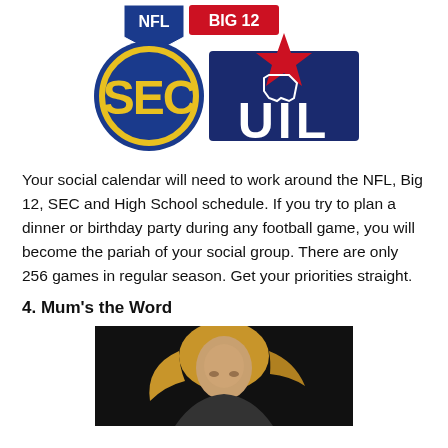[Figure (logo): Combined NFL, Big 12, SEC and UIL logos arranged together]
Your social calendar will need to work around the NFL, Big 12, SEC and High School schedule. If you try to plan a dinner or birthday party during any football game, you will become the pariah of your social group. There are only 256 games in regular season. Get your priorities straight.
4. Mum's the Word
[Figure (photo): Woman with flowing blonde hair against a dark background, performing or posing]